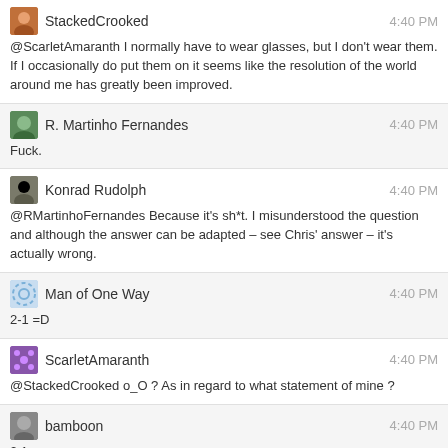StackedCrooked 4:40 PM @ScarletAmaranth I normally have to wear glasses, but I don't wear them. If I occasionally do put them on it seems like the resolution of the world around me has greatly been improved.
R. Martinho Fernandes 4:40 PM Fuck.
Konrad Rudolph 4:40 PM @RMartinhoFernandes Because it's sh*t. I misunderstood the question and although the answer can be adapted – see Chris' answer – it's actually wrong.
Man of One Way 4:40 PM 2-1 =D
ScarletAmaranth 4:40 PM @StackedCrooked o_O ? As in regard to what statement of mine ?
bamboon 4:40 PM 2:1
Man of One Way 4:40 PM Yaaaay
StackedCrooked 4:41 PM @ScarletAmaranth You can click the gray arrow at the left of my comment. It links to this comment.
Man of One Way 4:41 PM